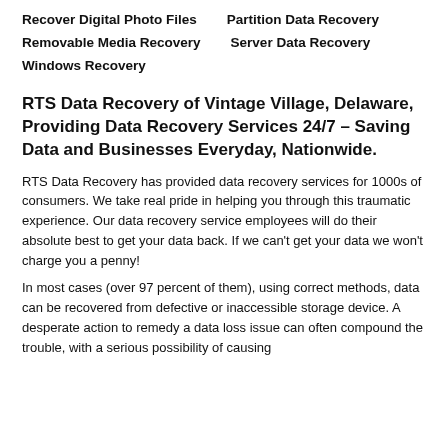Recover Digital Photo Files
Partition Data Recovery
Removable Media Recovery
Server Data Recovery
Windows Recovery
RTS Data Recovery of Vintage Village, Delaware, Providing Data Recovery Services 24/7 – Saving Data and Businesses Everyday, Nationwide.
RTS Data Recovery has provided data recovery services for 1000s of consumers. We take real pride in helping you through this traumatic experience. Our data recovery service employees will do their absolute best to get your data back. If we can't get your data we won't charge you a penny!
In most cases (over 97 percent of them), using correct methods, data can be recovered from defective or inaccessible storage device. A desperate action to remedy a data loss issue can often compound the trouble, with a serious possibility of causing